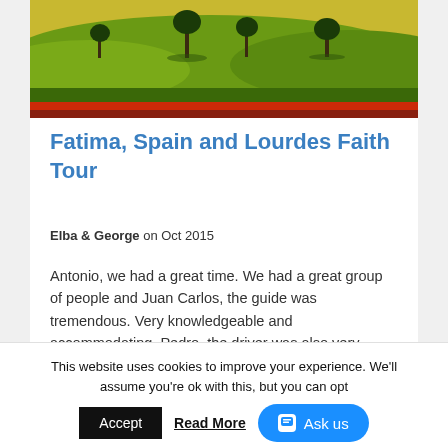[Figure (photo): Landscape photo of rolling green hills with trees and colorful flower fields in warm yellow, green and red tones — likely Spain or Portugal countryside.]
Fatima, Spain and Lourdes Faith Tour
Elba & George on Oct 2015
Antonio, we had a great time. We had a great group of people and Juan Carlos, the guide was tremendous. Very knowledgeable and accommodating. Pedro, the driver was also very
This website uses cookies to improve your experience. We'll assume you're ok with this, but you can opt-
Accept
Read More
Ask us